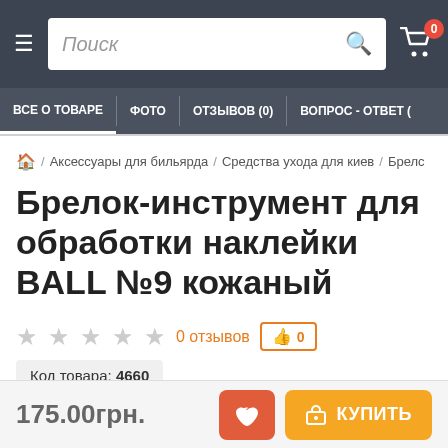Поиск | Cart (0)
ВСЕ О ТОВАРЕ | ФОТО | ОТЗЫВОВ (0) | ВОПРОС - ОТВЕТ
🏠 / Аксессуары для бильярда / Средства ухода для киев / Брелс
Брелок-инструмент для обработки наклейки BALL №9 кожаный
0 отзывов  👍 0
Код товара: 4660
175.00грн.
📞 КУПИТЬ